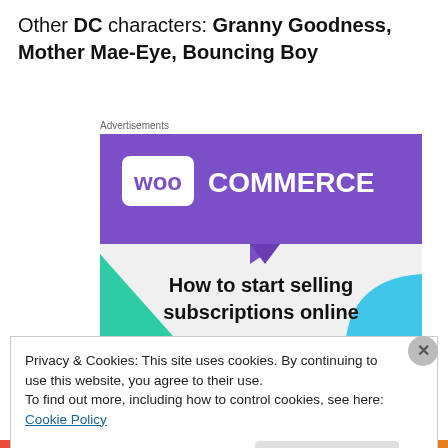Other DC characters: Granny Goodness, Mother Mae-Eye, Bouncing Boy
Advertisements
[Figure (illustration): WooCommerce advertisement banner. Purple banner with WooCommerce logo on top. Below text reads 'How to start selling subscriptions online'. Green triangle shape on lower left, cyan arc shape on lower right, gray background.]
Privacy & Cookies: This site uses cookies. By continuing to use this website, you agree to their use.
To find out more, including how to control cookies, see here: Cookie Policy
Close and accept